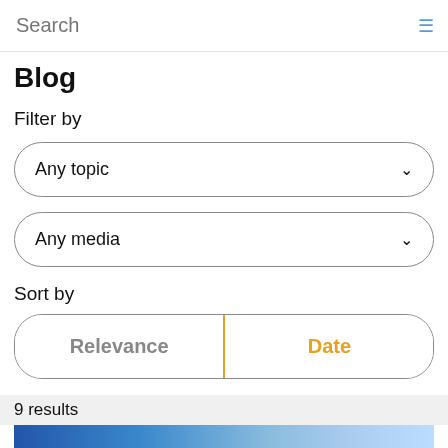[Figure (screenshot): Search bar UI element with placeholder text 'Search' and a search icon on the right]
Blog
Filter by
[Figure (screenshot): Dropdown selector showing 'Any topic' with chevron]
[Figure (screenshot): Dropdown selector showing 'Any media' with chevron]
Sort by
[Figure (screenshot): Sort toggle buttons: 'Relevance' (grey, left) and 'Date' (orange, right, active)]
9 results
[Figure (photo): Architectural photo showing blue vertical panels and glass curtain wall facade of a building]